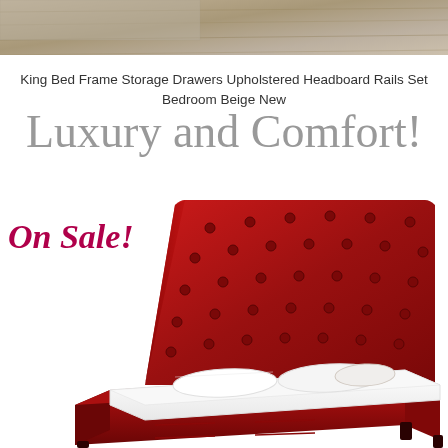[Figure (photo): Top portion of a bedroom scene showing a rug and wooden floor, partially cropped at top of page]
King Bed Frame Storage Drawers Upholstered Headboard Rails Set Bedroom Beige New
Luxury and Comfort!
[Figure (photo): Red velvet tufted upholstered king bed frame with storage drawers, white mattress and pillows, shown at an angle. Text overlay reads 'On Sale!']